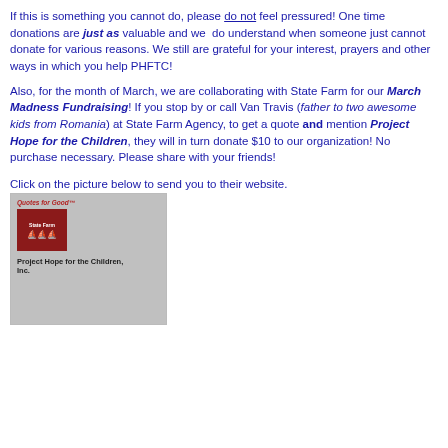If this is something you cannot do, please do not feel pressured! One time donations are just as valuable and we  do understand when someone just cannot donate for various reasons. We still are grateful for your interest, prayers and other ways in which you help PHFTC!

Also, for the month of March, we are collaborating with State Farm for our March Madness Fundraising! If you stop by or call Van Travis (father to two awesome kids from Romania) at State Farm Agency, to get a quote and mention Project Hope for the Children, they will in turn donate $10 to our organization! No purchase necessary. Please share with your friends!
Click on the picture below to send you to their website.
[Figure (photo): State Farm 'Quotes for Good' promotional image for Project Hope for the Children, Inc. Shows State Farm logo in red box and text 'Project Hope for the Children, Inc.']